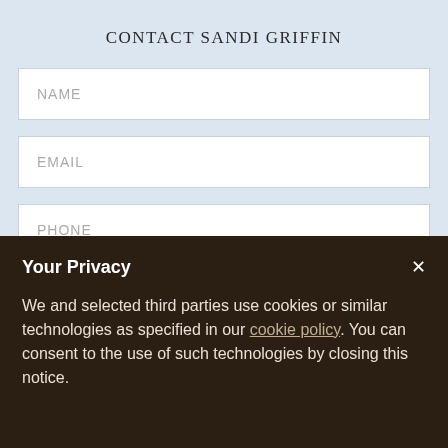CONTACT SANDI GRIFFIN
NAME
EMAIL
PHONE
MESSAGE
Your Privacy
We and selected third parties use cookies or similar technologies as specified in our cookie policy. You can consent to the use of such technologies by closing this notice.